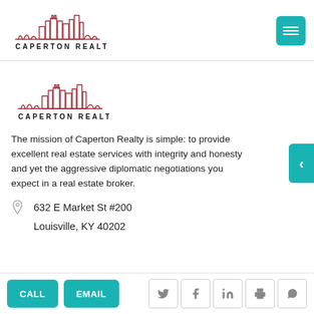[Figure (logo): Caperton Realty logo with city skyline outline in dark red/maroon and text CAPERTON REALTY below — header version]
[Figure (logo): Caperton Realty logo with city skyline outline in dark red/maroon and text CAPERTON REALTY below — body version]
The mission of Caperton Realty is simple: to provide excellent real estate services with integrity and honesty and yet the aggressive diplomatic negotiations you expect in a real estate broker.
632 E Market St #200
Louisville, KY 40202